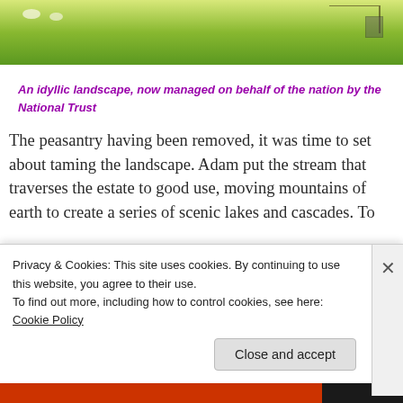[Figure (photo): Green pastoral landscape with sheep grazing on grass, fence and structure visible in upper right background.]
An idyllic landscape, now managed on behalf of the nation by the National Trust
The peasantry having been removed, it was time to set about taming the landscape. Adam put the stream that traverses the estate to good use, moving mountains of earth to create a series of scenic lakes and cascades. To
Privacy & Cookies: This site uses cookies. By continuing to use this website, you agree to their use.
To find out more, including how to control cookies, see here: Cookie Policy
Close and accept